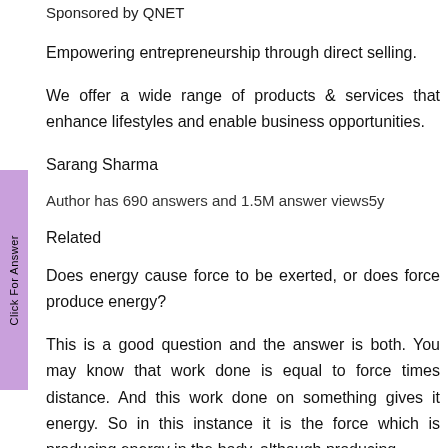Sponsored by QNET
Empowering entrepreneurship through direct selling.
We offer a wide range of products & services that enhance lifestyles and enable business opportunities.
Sarang Sharma
Author has 690 answers and 1.5M answer views5y
Related
Does energy cause force to be exerted, or does force produce energy?
This is a good question and the answer is both. You may know that work done is equal to force times distance. And this work done on something gives it energy. So in this instance it is the force which is producing energy in the body, although producing